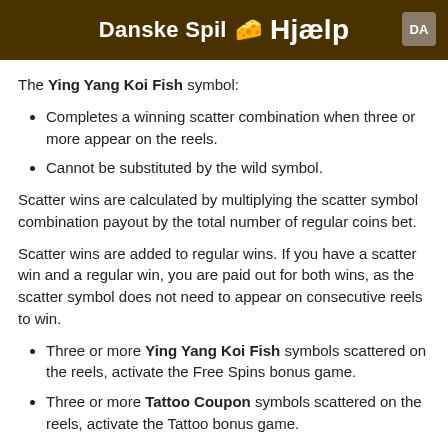Danske Spil 🧀 Hjælp  DA
The Ying Yang Koi Fish symbol:
Completes a winning scatter combination when three or more appear on the reels.
Cannot be substituted by the wild symbol.
Scatter wins are calculated by multiplying the scatter symbol combination payout by the total number of regular coins bet.
Scatter wins are added to regular wins. If you have a scatter win and a regular win, you are paid out for both wins, as the scatter symbol does not need to appear on consecutive reels to win.
Three or more Ying Yang Koi Fish symbols scattered on the reels, activate the Free Spins bonus game.
Three or more Tattoo Coupon symbols scattered on the reels, activate the Tattoo bonus game.
Free Spins Bonus Game Rules
[Figure (photo): Small thumbnail image showing a purple/dark fantasy character or koi fish game graphic]